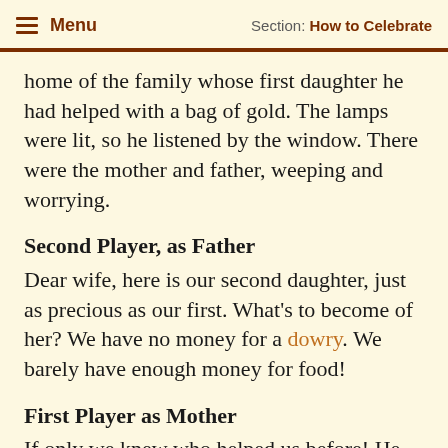Menu | Section: How to Celebrate
home of the family whose first daughter he had helped with a bag of gold. The lamps were lit, so he listened by the window. There were the mother and father, weeping and worrying.
Second Player, as Father
Dear wife, here is our second daughter, just as precious as our first. What's to become of her? We have no money for a dowry. We barely have enough money for food!
First Player as Mother
If only we knew who helped us before! He must be a good man, a kind man. We could